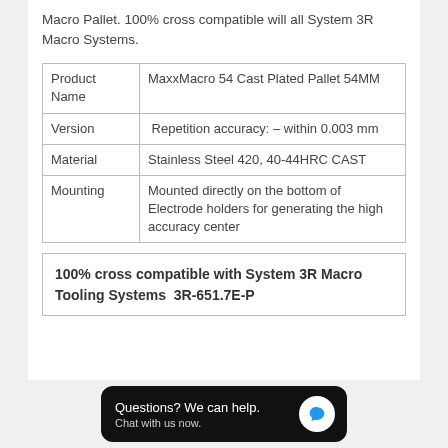Macro Pallet. 100% cross compatible will all System 3R Macro Systems.
| Product Name | MaxxMacro 54 Cast Plated Pallet 54MM |
| Version | Repetition accuracy: – within 0.003 mm |
| Material | Stainless Steel 420, 40-44HRC CAST |
| Mounting | Mounted directly on the bottom of Electrode holders for generating the high accuracy center |
100% cross compatible with System 3R Macro Tooling Systems  3R-651.7E-P
Questions? We can help. Chat with us now.